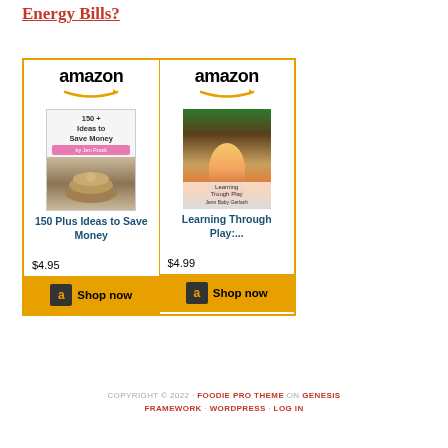Energy Bills?
[Figure (other): Amazon shopping widget showing two book listings side by side: '150 Plus Ideas to Save Money' priced at $4.95 and 'Learning Through Play:...' priced at $4.99, each with a Shop now button]
COPYRIGHT © 2022 · FOODIE PRO THEME ON GENESIS FRAMEWORK · WORDPRESS · LOG IN